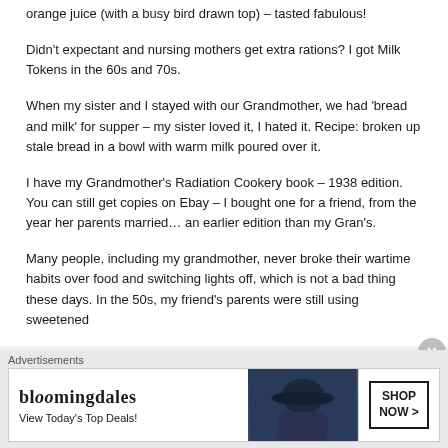orange juice (with a busy bird drawn top) – tasted fabulous!
Didn't expectant and nursing mothers get extra rations? I got Milk Tokens in the 60s and 70s.
When my sister and I stayed with our Grandmother, we had 'bread and milk' for supper – my sister loved it, I hated it. Recipe: broken up stale bread in a bowl with warm milk poured over it.
I have my Grandmother's Radiation Cookery book – 1938 edition. You can still get copies on Ebay – I bought one for a friend, from the year her parents married… an earlier edition than my Gran's.
Many people, including my grandmother, never broke their wartime habits over food and switching lights off, which is not a bad thing these days. In the 50s, my friend's parents were still using sweetened
Advertisements
[Figure (other): Bloomingdale's advertisement banner with logo, tagline 'View Today's Top Deals!', woman in hat image, and 'SHOP NOW >' button]